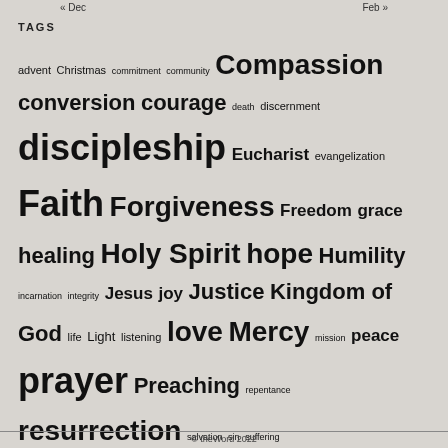« Dec    Feb »
TAGS
advent Christmas commitment community Compassion conversion courage death discernment discipleship Eucharist evangelization Faith Forgiveness Freedom grace healing Holy Spirit hope Humility incarnation integrity Jesus joy Justice Kingdom of God life Light listening love Mercy mission peace prayer Preaching repentance resurrection salvation sin suffering transformation trust trust in God Truth wisdom
© theWord 2022